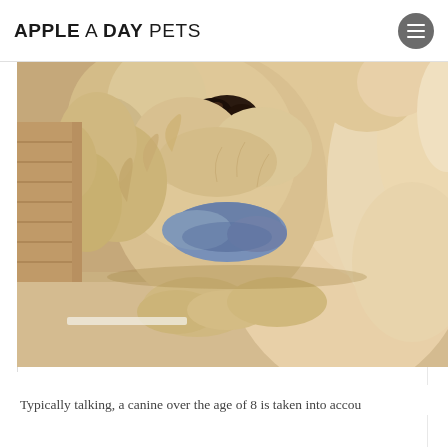APPLE A DAY PETS
[Figure (photo): Close-up photo of a fluffy light-brown/cream colored dog wearing a blue outfit or bandana, lying on a light beige surface. The dog's face is visible from just below the eyes showing its nose, mouth area with curly fur, and paws resting in front. The image is cropped so the top is cut off.]
Typically talking, a canine over the age of 8 is taken into accou